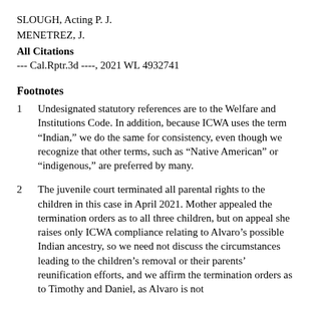SLOUGH, Acting P. J.
MENETREZ, J.
All Citations
--- Cal.Rptr.3d ----, 2021 WL 4932741
Footnotes
1  Undesignated statutory references are to the Welfare and Institutions Code. In addition, because ICWA uses the term “Indian,” we do the same for consistency, even though we recognize that other terms, such as “Native American” or “indigenous,” are preferred by many.
2  The juvenile court terminated all parental rights to the children in this case in April 2021. Mother appealed the termination orders as to all three children, but on appeal she raises only ICWA compliance relating to Alvaro’s possible Indian ancestry, so we need not discuss the circumstances leading to the children’s removal or their parents’ reunification efforts, and we affirm the termination orders as to Timothy and Daniel, as Alvaro is not